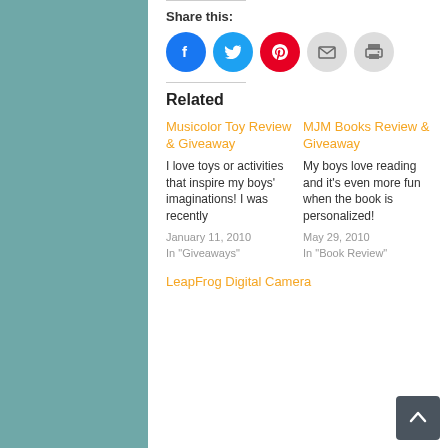Share this:
[Figure (infographic): Row of five circular social share buttons: Facebook (blue), Twitter (light blue), Pinterest (red), Email (light grey), Print (light grey)]
Related
Musicolor Toy Review & Giveaway
I love toys or activities that inspire my boys' imaginations!  I was recently
January 11, 2010
In "Giveaways"
MJM Books Review & Giveaway
My boys love reading and it's even more fun when the book is personalized!
May 29, 2010
In "Book Review"
LeapFrog Digital Camera